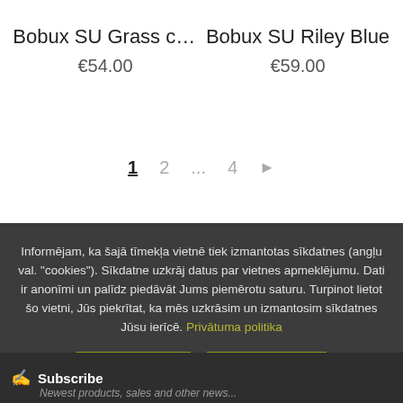Bobux SU Grass cour
€54.00
Bobux SU Riley Blue
€59.00
1  2  ...  4  ▶
Informējam, ka šajā tīmekļa vietnē tiek izmantotas sīkdatnes (angļu val. "cookies"). Sīkdatne uzkrāj datus par vietnes apmeklējumu. Dati ir anonīmi un palīdz piedāvāt Jums piemērotu saturu. Turpinot lietot šo vietni, Jūs piekrītat, ka mēs uzkrāsim un izmantosim sīkdatnes Jūsu ierīcē. Privātuma politika
ACCEPT
DECLINE
Subscribe
Newest products, sales and other news...